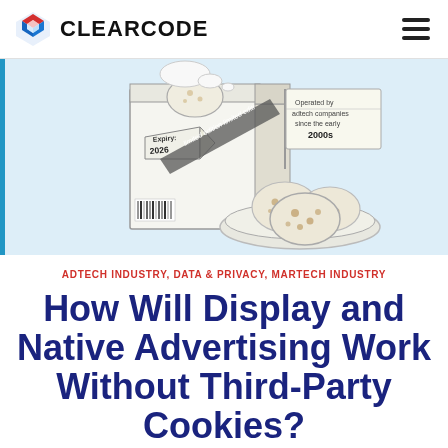CLEARCODE
[Figure (illustration): Illustration of a cookie box labeled 'Expiry: 2026' and 'Limited edition limited edition' with a flag reading 'Operated by adtech companies since the early 2000s', and a plate of chocolate chip cookies beside it, on a light blue background.]
ADTECH INDUSTRY, DATA & PRIVACY, MARTECH INDUSTRY
How Will Display and Native Advertising Work Without Third-Party Cookies?